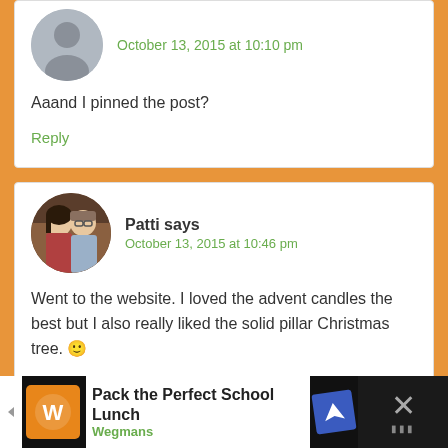[Figure (illustration): Generic grey avatar placeholder icon (circular)]
October 13, 2015 at 10:10 pm
Aaand I pinned the post?
Reply
[Figure (photo): Circular photo of a woman and man (couple) used as commenter avatar for Patti]
Patti says
October 13, 2015 at 10:46 pm
Went to the website. I loved the advent candles the best but I also really liked the solid pillar Christmas tree. 🙂
Reply
[Figure (screenshot): Advertisement banner: Pack the Perfect School Lunch - Wegmans, with orange logo icon and blue navigation arrow icon]